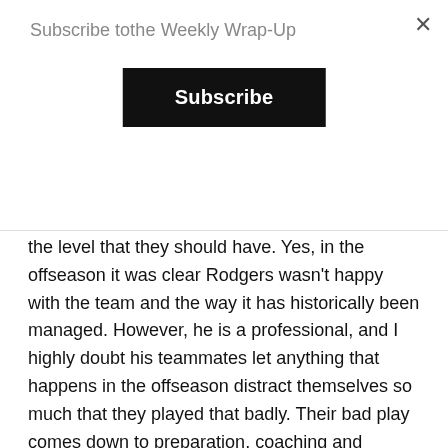Subscribe to the Weekly Wrap-Up
Subscribe
when many thought he'd leave Green Bay, distracted him and the team from playing up to the level that they should have. Yes, in the offseason it was clear Rodgers wasn't happy with the team and the way it has historically been managed. However, he is a professional, and I highly doubt his teammates let anything that happens in the offseason distract themselves so much that they played that badly. Their bad play comes down to preparation, coaching and underestimating a Saints squad that is still quite good even with injuries and a change in QB.
As bad as the Packers played last weekend, the first game of a season does not define a team. There are still 16